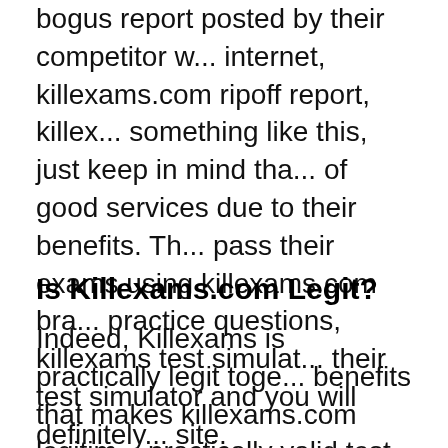bogus report posted by their competitor w... internet, killexams.com ripoff report, killex... something like this, just keep in mind tha... of good services due to their benefits. Th... pass their exams using killexams.com bra... practice questions, killexams test simulat... their test simulator and you will definitely... site.
Is Killexams.com Legit?
Indeed, Killexams is practically legit toge... benefits that makes killexams.com legitim... practically valid test dumps formulated wi...